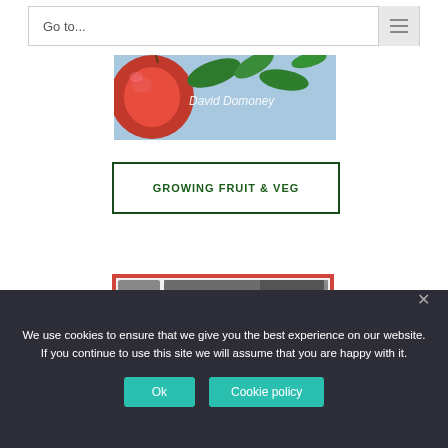Go to...
[Figure (photo): Close-up photo of a red apple on a tree with green leaves and blue sky background. Text overlay reads 'David Domoney']
GROWING FRUIT & VEG
[Figure (screenshot): Partial screenshot of Instagram profile for David Domoney (@daviddomoney) showing profile photo and Instagram photos and videos]
We use cookies to ensure that we give you the best experience on our website. If you continue to use this site we will assume that you are happy with it.
Ok
Cookie policy